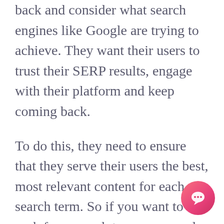back and consider what search engines like Google are trying to achieve. They want their users to trust their SERP results, engage with their platform and keep coming back.
To do this, they need to ensure that they serve their users the best, most relevant content for each search term. So if you want to rank for a search term, you need to deliver on your promise. No trickery, no shady shortcuts.
Do what you say you'll do, and Google